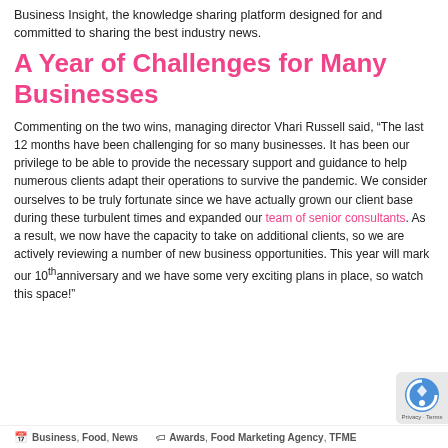Business Insight, the knowledge sharing platform designed for and committed to sharing the best industry news.
A Year of Challenges for Many Businesses
Commenting on the two wins, managing director Vhari Russell said, “The last 12 months have been challenging for so many businesses. It has been our privilege to be able to provide the necessary support and guidance to help numerous clients adapt their operations to survive the pandemic. We consider ourselves to be truly fortunate since we have actually grown our client base during these turbulent times and expanded our team of senior consultants. As a result, we now have the capacity to take on additional clients, so we are actively reviewing a number of new business opportunities. This year will mark our 10th anniversary and we have some very exciting plans in place, so watch this space!”
Business, Food, News  Awards, Food Marketing Agency, TFME